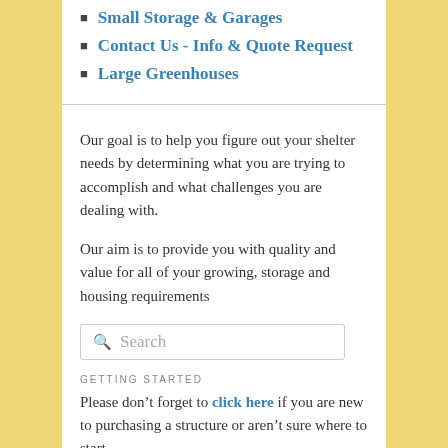Small Storage & Garages
Contact Us - Info & Quote Request
Large Greenhouses
Our goal is to help you figure out your shelter needs by determining what you are trying to accomplish and what challenges you are dealing with.
Our aim is to provide you with quality and value for all of your growing, storage and housing requirements
Search
GETTING STARTED
Please don’t forget to click here if you are new to purchasing a structure or aren’t sure where to start
GET NOTIFIED OF NEW POSTS
Enter your email address to follow this blog and receive